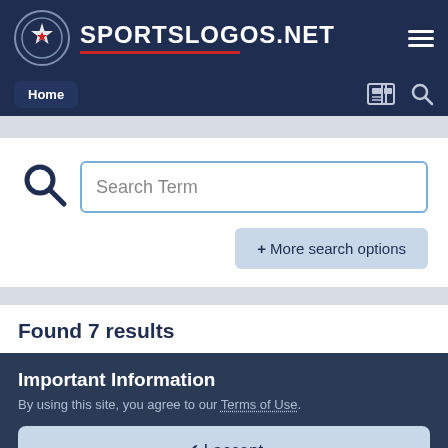SPORTSLOGOS.NET
Home
Search Term
+ More search options
Found 7 results
Important Information
By using this site, you agree to our Terms of Use.
✔ I accept